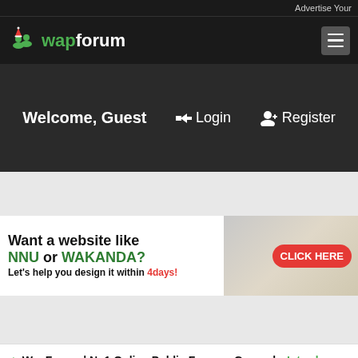Advertise Your
[Figure (logo): WapForum logo with green user icons and Christmas hat, text 'wapforum' in white and green]
Welcome, Guest   ➤ Login   ✚+ Register
[Figure (infographic): Advertisement banner: Want a website like NNU or WAKANDA? Let's help you design it within 4days! CLICK HERE]
WapForum | No1 Online Public Forum » General » Introduce Yourself